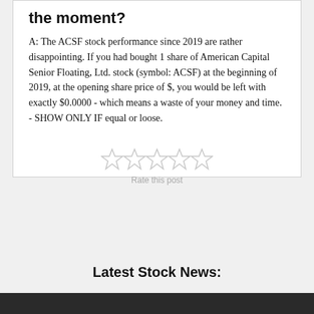the moment?
A: The ACSF stock performance since 2019 are rather disappointing. If you had bought 1 share of American Capital Senior Floating, Ltd. stock (symbol: ACSF) at the beginning of 2019, at the opening share price of $, you would be left with exactly $0.0000 - which means a waste of your money and time. - SHOW ONLY IF equal or loose.
[Figure (other): Five empty star rating icons (unfilled, light gray) for user rating]
Rate this post
Latest Stock News: